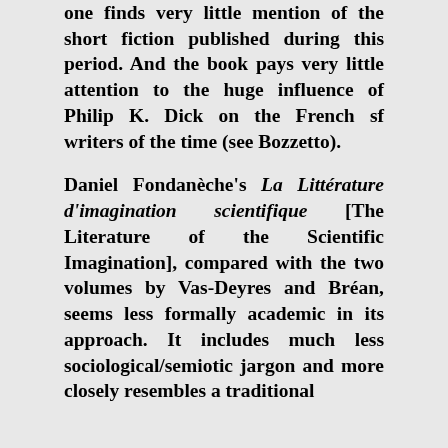one finds very little mention of the short fiction published during this period. And the book pays very little attention to the huge influence of Philip K. Dick on the French sf writers of the time (see Bozzetto).
Daniel Fondanèche's La Littérature d'imagination scientifique [The Literature of the Scientific Imagination], compared with the two volumes by Vas-Deyres and Bréan, seems less formally academic in its approach. It includes much less sociological/semiotic jargon and more closely resembles a traditional